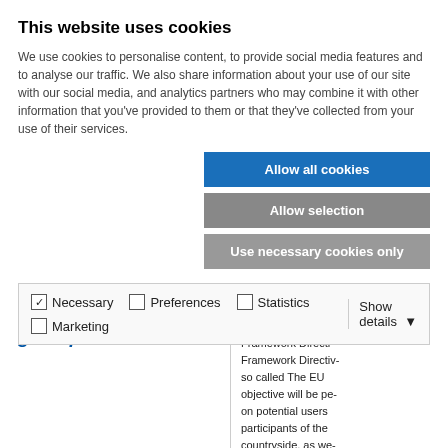This website uses cookies
We use cookies to personalise content, to provide social media features and to analyse our traffic. We also share information about your use of our site with our social media, and analytics partners who may combine it with other information that you've provided to them or that they've collected from your use of their services.
Allow all cookies
Allow selection
Use necessary cookies only
| ✓ Necessary | □ Preferences | □ Statistics | Show details ▾ |
| □ Marketing |  |  |  |
good practice
documents of the Framework Directi... Framework Directiv... so called The EU... objective will be pe... on potential users... participants of the... countryside, as we... sphere. The devel... on the level of so... region based on th...